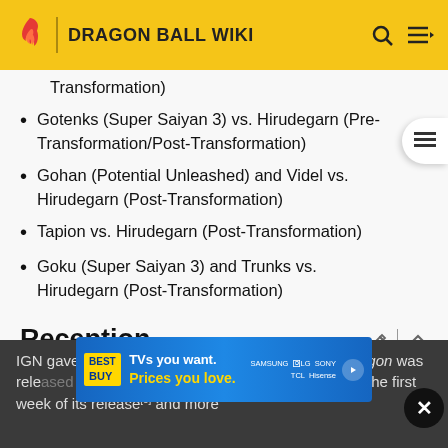DRAGON BALL WIKI
Transformation)
Gotenks (Super Saiyan 3) vs. Hirudegarn (Pre-Transformation/Post-Transformation)
Gohan (Potential Unleashed) and Videl vs. Hirudegarn (Post-Transformation)
Tapion vs. Hirudegarn (Post-Transformation)
Goku (Super Saiyan 3) and Trunks vs. Hirudegarn (Post-Transformation)
Reception
IGN gave the movie a 7/10.[7] When Wrath of the Dragon was released on DVD, it sold more than 50,000 copies in the first week of its release[8] and more